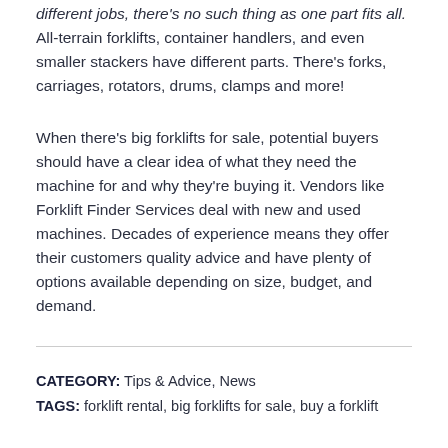different jobs, there's no such thing as one part fits all. All-terrain forklifts, container handlers, and even smaller stackers have different parts. There's forks, carriages, rotators, drums, clamps and more!
When there's big forklifts for sale, potential buyers should have a clear idea of what they need the machine for and why they're buying it. Vendors like Forklift Finder Services deal with new and used machines. Decades of experience means they offer their customers quality advice and have plenty of options available depending on size, budget, and demand.
CATEGORY: Tips & Advice, News
TAGS: forklift rental, big forklifts for sale, buy a forklift